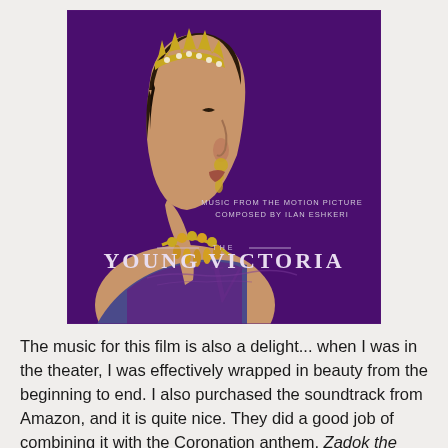[Figure (illustration): Album cover for 'The Young Victoria' soundtrack. Music from the motion picture composed by Ilan Eshkeri. Shows a woman in profile wearing a gold crown and jeweled necklace against a deep purple background with ornate decorative motifs.]
The music for this film is also a delight... when I was in the theater, I was effectively wrapped in beauty from the beginning to end. I also purchased the soundtrack from Amazon, and it is quite nice. They did a good job of combining it with the Coronation anthem, Zadok the Priest by